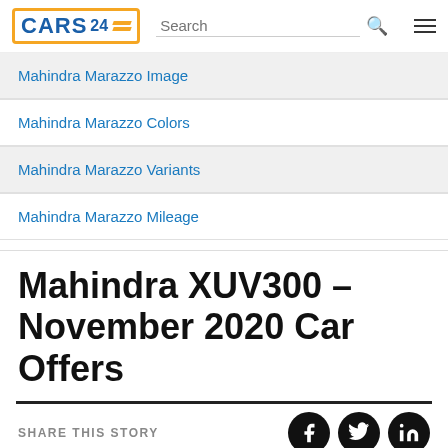CARS24 — Search header with navigation menu icon
Mahindra Marazzo Image
Mahindra Marazzo Colors
Mahindra Marazzo Variants
Mahindra Marazzo Mileage
Mahindra XUV300 – November 2020 Car Offers
SHARE THIS STORY